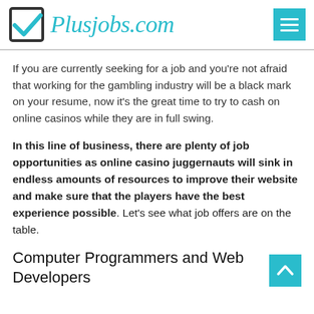Plusjobs.com
If you are currently seeking for a job and you’re not afraid that working for the gambling industry will be a black mark on your resume, now it’s the great time to try to cash on online casinos while they are in full swing.
In this line of business, there are plenty of job opportunities as online casino juggernauts will sink in endless amounts of resources to improve their website and make sure that the players have the best experience possible. Let’s see what job offers are on the table.
Computer Programmers and Web Developers